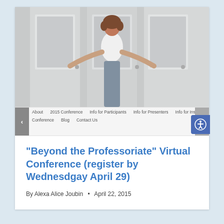[Figure (photo): A woman with curly hair seen from behind, standing in front of three white paneled doors, arms outstretched toward the side doors, wearing a white t-shirt.]
About  2015 Conference  Info for Participants  Info for Presenters  Info for Institutions  Register  Conference  Blog  Contact Us
“Beyond the Professoriate” Virtual Conference (register by Wednesdgay April 29)
By Alexa Alice Joubin • April 22, 2015